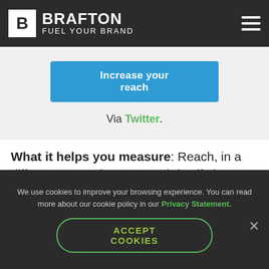BRAFTON FUEL YOUR BRAND
[Figure (screenshot): Blue button with text 'Increase your reach']
Via Twitter.
What it helps you measure: Reach, in a different way. Whereas reach itself shows how many unique views a piece of content receives (as we explained in our Instagram
We use cookies to improve your browsing experience. You can read more about our cookie policy in our Privacy Statement.
ACCEPT COOKIES